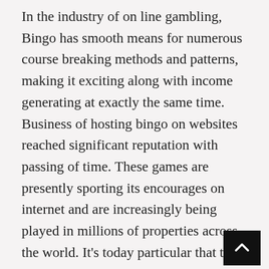In the industry of on line gambling, Bingo has smooth means for numerous course breaking methods and patterns, making it exciting along with income generating at exactly the same time. Business of hosting bingo on websites reached significant reputation with passing of time. These games are presently sporting its encourages on internet and are increasingly being played in millions of properties across the world. It's today particular that this common sport is here to keep and is meant to be a part of people for quite long. These games allow participants owned by different parts of the planet take part in a hugely common game. More over, the possibility to remain associated with participants owned by different parts of the planet act as an included advantage. These games offer fun, buddies and of course excitement. Actually, the main function behind